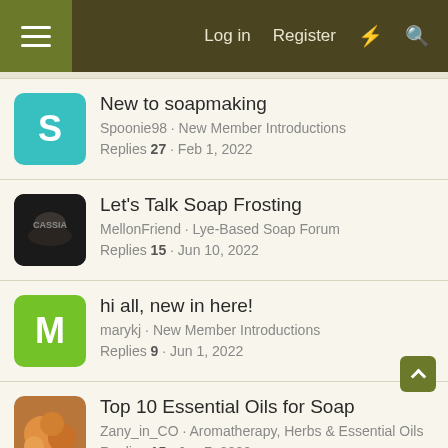Log in  Register
New to soapmaking
Spoonie98 · New Member Introductions
Replies 27 · Feb 1, 2022
Let's Talk Soap Frosting
MellonFriend · Lye-Based Soap Forum
Replies 15 · Jun 10, 2022
hi all, new in here!
marykj · New Member Introductions
Replies 9 · Jun 1, 2022
Top 10 Essential Oils for Soap
Zany_in_CO · Aromatherapy, Herbs & Essential Oils
Replies 15 · Jun 7, 2022
Vanilla flavored coffee in mp soap
jarofdreams · Melt & Pour Forum